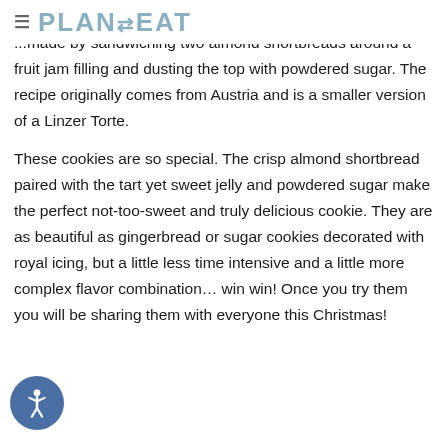≡ PLAN TO EAT
...made by sandwiching two almond shortbreads around a fruit jam filling and dusting the top with powdered sugar. The recipe originally comes from Austria and is a smaller version of a Linzer Torte.

These cookies are so special. The crisp almond shortbread paired with the tart yet sweet jelly and powdered sugar make the perfect not-too-sweet and truly delicious cookie. They are as beautiful as gingerbread or sugar cookies decorated with royal icing, but a little less time intensive and a little more complex flavor combination… win win! Once you try them you will be sharing them with everyone this Christmas!